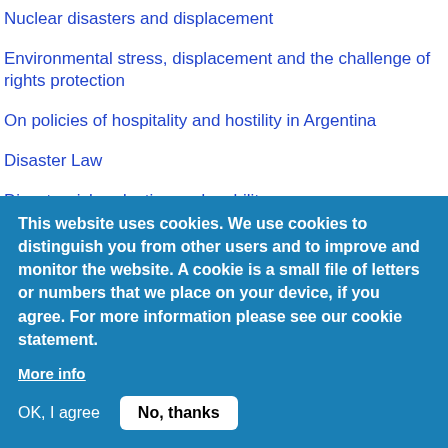Nuclear disasters and displacement
Environmental stress, displacement and the challenge of rights protection
On policies of hospitality and hostility in Argentina
Disaster Law
Disaster risk reduction and mobility
The global governance of crisis migration
Crisis Migration Project
This website uses cookies. We use cookies to distinguish you from other users and to improve and monitor the website. A cookie is a small file of letters or numbers that we place on your device, if you agree. For more information please see our cookie statement.
More info
OK, I agree
No, thanks